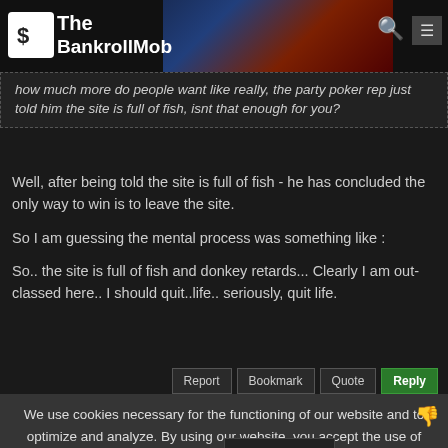The BankrollMob
how much more do people want like really, the party poker rep just told him the site is full of fish, isnt that enough for you?
Well, after being told the site is full of fish - he has concluded the only way to win is to leave the site.

So I am guessing the mental process was something like :

So.. the site is full of fish and donkey retards... Clearly I am out-classed here.. I should quit..life.. seriously, quit life.
We use cookies necessary for the functioning of our website and to optimize and analyze. By using our website, you accept the use of these cookies.
Read our Cookie Policy
Noisecore
Posted 7-Nov-11, 0
I'm only a member for ONE day here and I'm already sick of these noobs starting threads like Understood